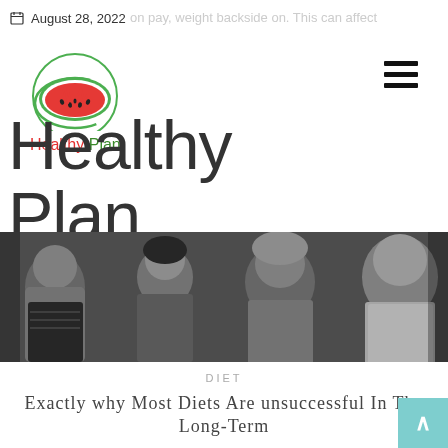August 28, 2022
on pay, vveight backside on. This can affect
[Figure (logo): Watermelon slice logo with heartbeat line, circular green border]
Healthy Plan
Healthy Plan
[Figure (photo): Black and white photo strip showing multiple generations of females: young girl, young woman, middle-aged woman, elderly woman]
DIET
Exactly why Most Diets Are unsuccessful In The Long-Term